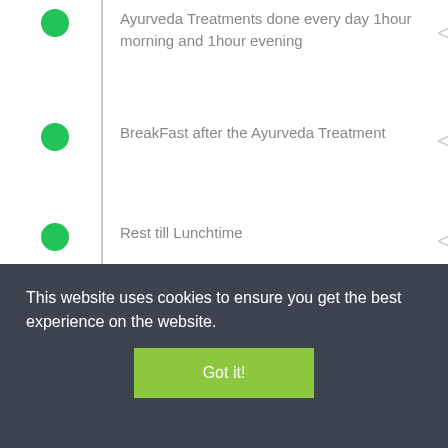Ayurveda Treatments done every day 1hour morning and 1hour evening
BreakFast after the Ayurveda Treatment
Rest till Lunchtime
This website uses cookies to ensure you get the best experience on the website.
Got it!